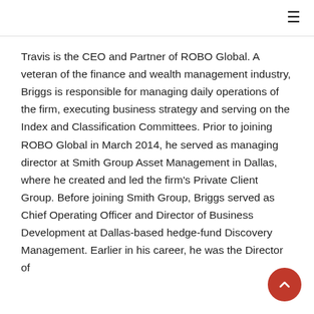≡
Travis is the CEO and Partner of ROBO Global. A veteran of the finance and wealth management industry, Briggs is responsible for managing daily operations of the firm, executing business strategy and serving on the Index and Classification Committees. Prior to joining ROBO Global in March 2014, he served as managing director at Smith Group Asset Management in Dallas, where he created and led the firm's Private Client Group. Before joining Smith Group, Briggs served as Chief Operating Officer and Director of Business Development at Dallas-based hedge-fund Discovery Management. Earlier in his career, he was the Director of